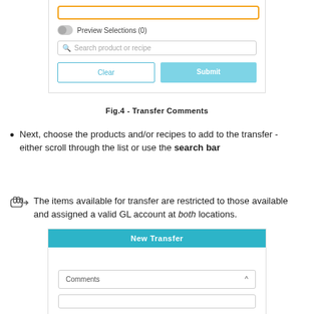[Figure (screenshot): UI screenshot showing an orange-bordered bar, a toggle for Preview Selections (0), a search box for 'Search product or recipe', and two buttons: Clear and Submit.]
Fig.4 - Transfer Comments
Next, choose the products and/or recipes to add to the transfer - either scroll through the list or use the search bar
The items available for transfer are restricted to those available and assigned a valid GL account at both locations.
[Figure (screenshot): Bottom UI screenshot showing New Transfer panel with Comments section and a partial field below.]